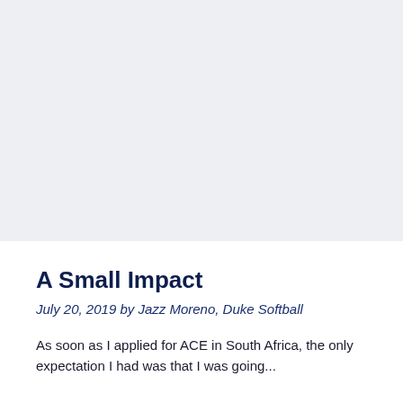[Figure (photo): Large image placeholder at the top of the page, light gray background, no visible content.]
A Small Impact
July 20, 2019 by Jazz Moreno, Duke Softball
As soon as I applied for ACE in South Africa, the only expectation I had was that I was going...